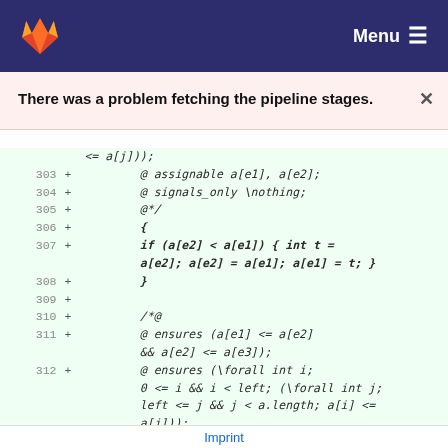GitLab — Menu
There was a problem fetching the pipeline stages.
Code diff lines 303-312: source code for a sorting algorithm with JML annotations. Lines include: <= a[j])); @ assignable a[e1], a[e2]; @ signals_only \nothing; @*/ { if (a[e2] < a[e1]) { int t = a[e2]; a[e2] = a[e1]; a[e1] = t; } } /*@ @ ensures (a[e1] <= a[e2] && a[e2] <= a[e3]); @ ensures (\forall int i; 0 <= i && i < left; (\forall int j; left <= j && j < a.length; a[i] <= a[j]));
Imprint